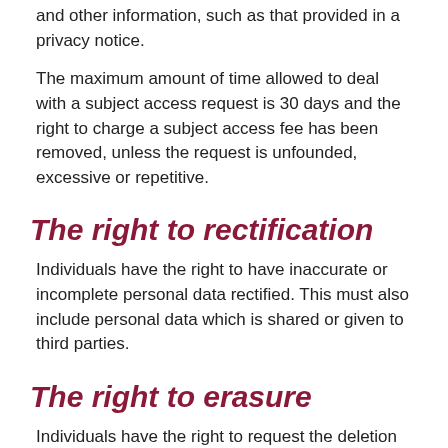and other information, such as that provided in a privacy notice.
The maximum amount of time allowed to deal with a subject access request is 30 days and the right to charge a subject access fee has been removed, unless the request is unfounded, excessive or repetitive.
The right to rectification
Individuals have the right to have inaccurate or incomplete personal data rectified. This must also include personal data which is shared or given to third parties.
The right to erasure
Individuals have the right to request the deletion or removal of personal data where there is no compelling reason for its continued processing. Again, this must also include personal data that is shared or given to third parties.